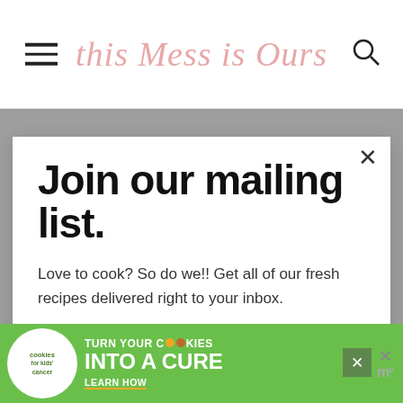[Figure (screenshot): Website header with hamburger menu icon on left, cursive script logo 'this Mess is Ours' in pink/salmon color in center, and search icon on right, on white background]
Join our mailing list.
Love to cook? So do we!! Get all of our fresh recipes delivered right to your inbox.
Email address
Subscribe
[Figure (infographic): Cookies for Kids Cancer advertisement banner in green: logo on left showing white circle with green text 'cookies for kids cancer', main text 'turn your COOKIES into a CURE LEARN HOW' with close button X and Mediavine logo on right]